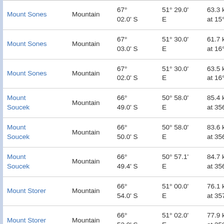| Name | Type | Latitude | Longitude | Distance |
| --- | --- | --- | --- | --- |
| Mount Sones | Mountain | 67° 02.0' S | 51° 29.0' E | 63.3 km at 15° |
| Mount Sones | Mountain | 67° 03.0' S | 51° 30.0' E | 61.7 km at 16° |
| Mount Sones | Mountain | 67° 02.0' S | 51° 30.0' E | 63.5 km at 16° |
| Mount Soucek | Mountain | 66° 49.0' S | 50° 58.0' E | 85.4 km at 356° |
| Mount Soucek | Mountain | 66° 50.0' S | 50° 58.0' E | 83.6 km at 356° |
| Mount Soucek | Mountain | 66° 49.4' S | 50° 57.1' E | 84.7 km at 356° |
| Mount Storer | Mountain | 66° 54.0' S | 51° 00.0' E | 76.1 km at 357° |
| Mount Storer | Mountain | 66° 52.0' S | 51° 02.0' E | 77.9 km at 358° |